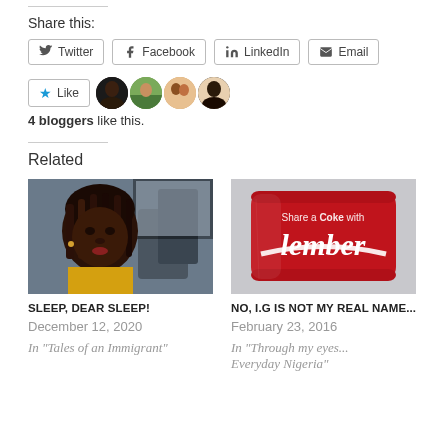Share this:
[Figure (infographic): Share buttons: Twitter, Facebook, LinkedIn, Email]
[Figure (infographic): Like button with star icon and 4 blogger avatar photos]
4 bloggers like this.
Related
[Figure (photo): Photo of a woman with braided hair sitting on a bus]
SLEEP, DEAR SLEEP!
December 12, 2020
In "Tales of an Immigrant"
[Figure (photo): Red Coca-Cola can with text 'Share a Coke with lember']
NO, I.G IS NOT MY REAL NAME...
February 23, 2016
In "Through my eyes... Everyday Nigeria"